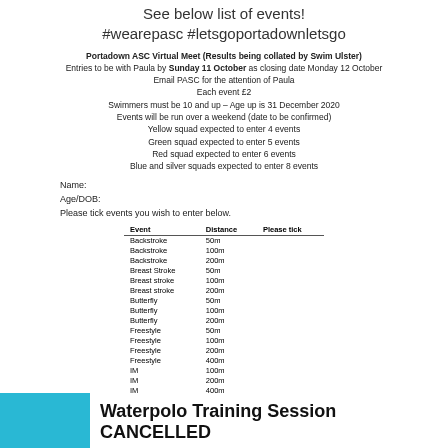See below list of events!
#wearepasc #letsgoportadownletsgo
Portadown ASC Virtual Meet (Results being collated by Swim Ulster)
Entries to be with Paula by Sunday 11 October as closing date Monday 12 October
Email PASC for the attention of Paula
Each event £2
Swimmers must be 10 and up – Age up is 31 December 2020
Events will be run over a weekend (date to be confirmed)
Yellow squad expected to enter 4 events
Green squad expected to enter 5 events
Red squad expected to enter 6 events
Blue and silver squads expected to enter 8 events
Name:
Age/DOB:
Please tick events you wish to enter below.
| Event | Distance | Please tick |
| --- | --- | --- |
| Backstroke | 50m |  |
| Backstroke | 100m |  |
| Backstroke | 200m |  |
| Breast Stroke | 50m |  |
| Breast stroke | 100m |  |
| Breast stroke | 200m |  |
| Butterfly | 50m |  |
| Butterfly | 100m |  |
| Butterfly | 200m |  |
| Freestyle | 50m |  |
| Freestyle | 100m |  |
| Freestyle | 200m |  |
| Freestyle | 400m |  |
| IM | 100m |  |
| IM | 200m |  |
| IM | 400m |  |
Waterpolo Training Session
CANCELLED